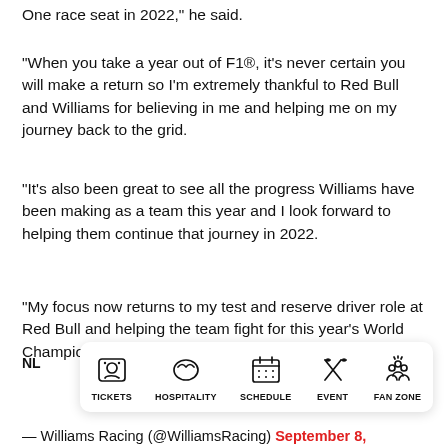One race seat in 2022," he said.
"When you take a year out of F1®, it's never certain you will make a return so I'm extremely thankful to Red Bull and Williams for believing in me and helping me on my journey back to the grid.
"It's also been great to see all the progress Williams have been making as a team this year and I look forward to helping them continue that journey in 2022.
"My focus now returns to my test and reserve driver role at Red Bull and helping the team fight for this year's World Championship."
[Figure (screenshot): Mobile navigation bar with icons and labels: TICKETS, HOSPITALITY, SCHEDULE, EVENT, FAN ZONE]
NL
— Williams Racing (@WilliamsRacing) September 8,